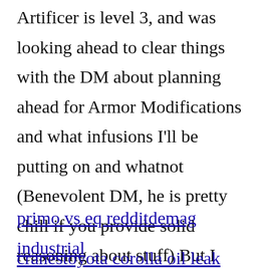Artificer is level 3, and was looking ahead to clear things with the DM about planning ahead for Armor Modifications and what infusions I'll be putting on and whatnot (Benevolent DM, he is pretty chill if you provide solid reasoning about stuff) But I don't see a way to apply "Power Armor" to a specific piece of equipment, which of course I assume is just something that ...
primo vs eq redditdemag industrial
cranestoyota corolla oil leak passenger